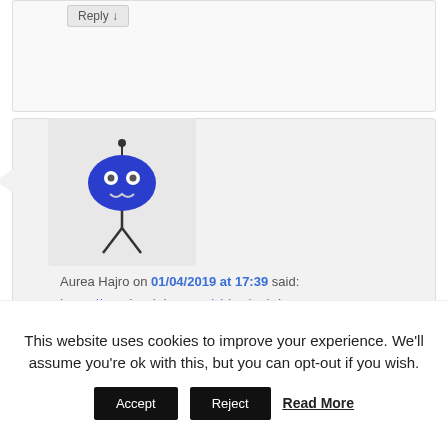Reply ↓
[Figure (illustration): Blue cartoon character avatar for user Aurea Hajro]
Aurea Hajro on 01/04/2019 at 17:39 said:
https://spark.adobe.com/video/MtiFirw9NKqtE
I'm sorry for giving my work too late and for any mistakes I did.
(ps: the music may be too loud but Adobe Spark didn't let me fix it).
This website uses cookies to improve your experience. We'll assume you're ok with this, but you can opt-out if you wish.
Accept   Reject   Read More